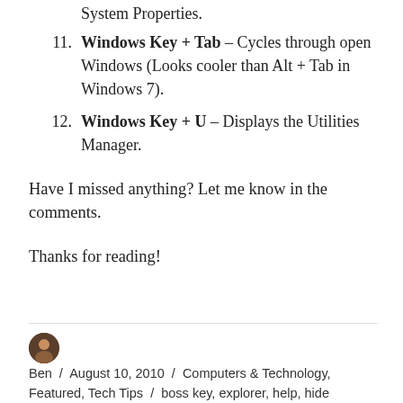System Properties.
Windows Key + Tab – Cycles through open Windows (Looks cooler than Alt + Tab in Windows 7).
Windows Key + U – Displays the Utilities Manager.
Have I missed anything? Let me know in the comments.
Thanks for reading!
Ben / August 10, 2010 / Computers & Technology, Featured, Tech Tips / boss key, explorer, help, hide windows, key, key shortcut, key shortcuts, keyboard